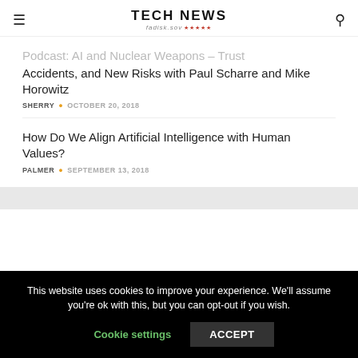TECH NEWS
Podcast: AI and Nuclear Weapons – Trust Accidents, and New Risks with Paul Scharre and Mike Horowitz
SHERRY · OCTOBER 20, 2018
How Do We Align Artificial Intelligence with Human Values?
PALMER · SEPTEMBER 13, 2018
This website uses cookies to improve your experience. We'll assume you're ok with this, but you can opt-out if you wish.
Cookie settings    ACCEPT